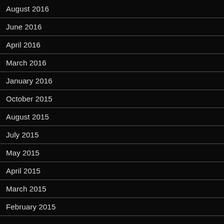August 2016
June 2016
April 2016
March 2016
January 2016
October 2015
August 2015
July 2015
May 2015
April 2015
March 2015
February 2015